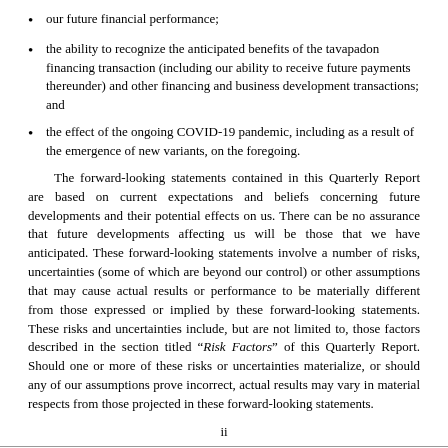our future financial performance;
the ability to recognize the anticipated benefits of the tavapadon financing transaction (including our ability to receive future payments thereunder) and other financing and business development transactions; and
the effect of the ongoing COVID-19 pandemic, including as a result of the emergence of new variants, on the foregoing.
The forward-looking statements contained in this Quarterly Report are based on current expectations and beliefs concerning future developments and their potential effects on us. There can be no assurance that future developments affecting us will be those that we have anticipated. These forward-looking statements involve a number of risks, uncertainties (some of which are beyond our control) or other assumptions that may cause actual results or performance to be materially different from those expressed or implied by these forward-looking statements. These risks and uncertainties include, but are not limited to, those factors described in the section titled “Risk Factors” of this Quarterly Report. Should one or more of these risks or uncertainties materialize, or should any of our assumptions prove incorrect, actual results may vary in material respects from those projected in these forward-looking statements.
ii
Some of these risks and uncertainties may in the future be amplified by the ongoing COVID-19 pandemic, including as a result of the emergence of new variants, and there may be additional risks that we consider immaterial,